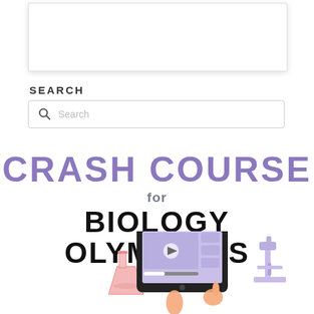[Figure (screenshot): White box/card area at the top of the page]
SEARCH
[Figure (screenshot): Search input box with magnifying glass icon and placeholder text 'Search']
CRASH COURSE for BIOLOGY OLYMPIADS
[Figure (illustration): Illustration showing a tablet with a video player, a beaker/flask, a microscope, and hands interacting with the tablet]